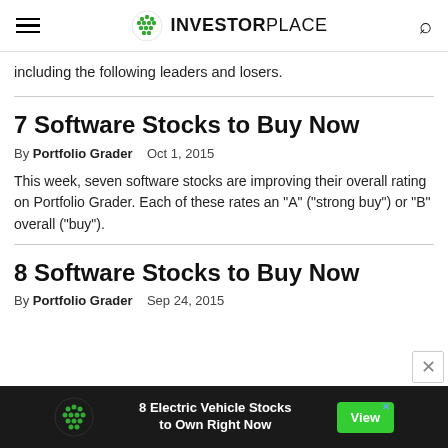INVESTORPLACE
including the following leaders and losers.
7 Software Stocks to Buy Now
By Portfolio Grader   Oct 1, 2015
This week, seven software stocks are improving their overall rating on Portfolio Grader. Each of these rates an "A" ("strong buy") or "B" overall ("buy").
8 Software Stocks to Buy Now
By Portfolio Grader   Sep 24, 2015
8 Electric Vehicle Stocks to Own Right Now